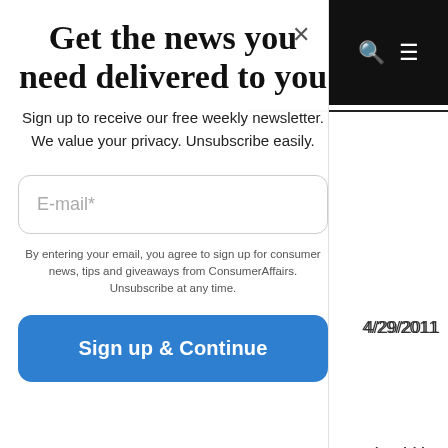Get the news you need delivered to you
Sign up to receive our free weekly newsletter. We value your privacy. Unsubscribe easily.
E-mail*
By entering your email, you agree to sign up for consumer news, tips and giveaways from ConsumerAffairs. Unsubscribe at any time.
Sign up & Continue
4/29/2011
should be
4/26/2011
4/14/2011
) years in